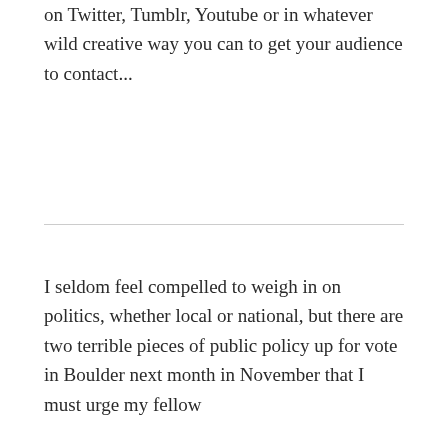on Twitter, Tumblr, Youtube or in whatever wild creative way you can to get your audience to contact...
I seldom feel compelled to weigh in on politics, whether local or national, but there are two terrible pieces of public policy up for vote in Boulder next month in November that I must urge my fellow